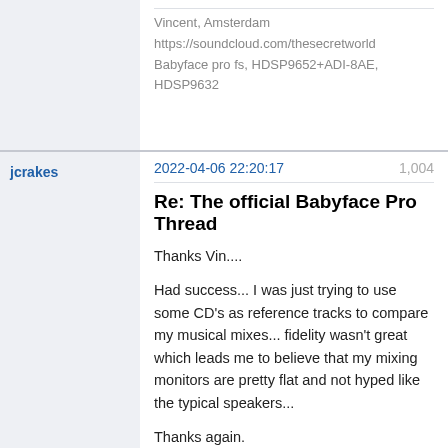Vincent, Amsterdam
https://soundcloud.com/thesecretworld
Babyface pro fs, HDSP9652+ADI-8AE, HDSP9632
jcrakes
2022-04-06 22:20:17
1,004
Re: The official Babyface Pro Thread
Thanks Vin....

Had success... I was just trying to use some CD's as reference tracks to compare my musical mixes... fidelity wasn't great which leads me to believe that my mixing monitors are pretty flat and not hyped like the typical speakers...

Thanks again.
Awaclus
2022-04-11 15:21:27
1,005